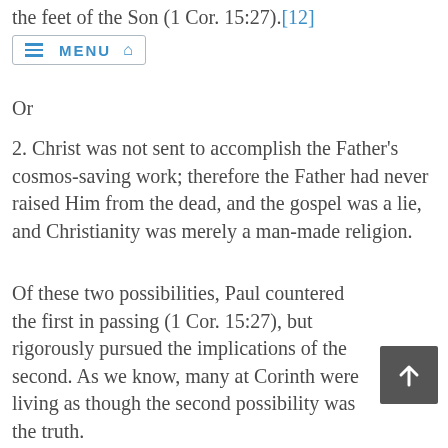the feet of the Son (1 Cor. 15:27).[12]
≡ MENU 🏠
Or
2. Christ was not sent to accomplish the Father's cosmos-saving work; therefore the Father had never raised Him from the dead, and the gospel was a lie, and Christianity was merely a man-made religion.
Of these two possibilities, Paul countered the first in passing (1 Cor. 15:27), but rigorously pursued the implications of the second. As we know, many at Corinth were living as though the second possibility was the truth.